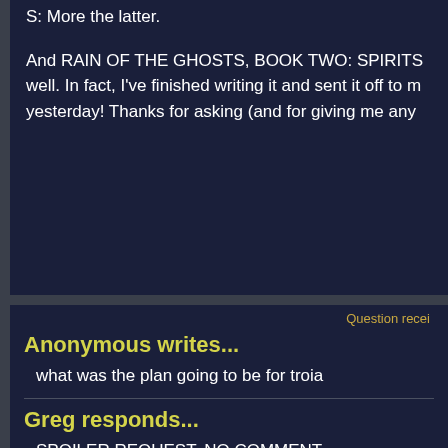S: More the latter.
And RAIN OF THE GHOSTS, BOOK TWO: SPIRITS well. In fact, I've finished writing it and sent it off to m yesterday! Thanks for asking (and for giving me any
Question recei
Anonymous writes...
what was the plan going to be for troia
Greg responds...
SPOILER REQUEST. NO COMMENT.
RAIN OF THE GHOSTS BOOK TWO: SP Progress Report
RAIN OF THE GHOSTS BOOK TWO: SPIRITS C...